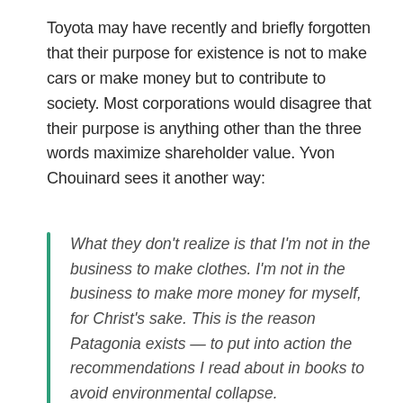Toyota may have recently and briefly forgotten that their purpose for existence is not to make cars or make money but to contribute to society. Most corporations would disagree that their purpose is anything other than the three words maximize shareholder value. Yvon Chouinard sees it another way:
What they don't realize is that I'm not in the business to make clothes. I'm not in the business to make more money for myself, for Christ's sake. This is the reason Patagonia exists — to put into action the recommendations I read about in books to avoid environmental collapse.